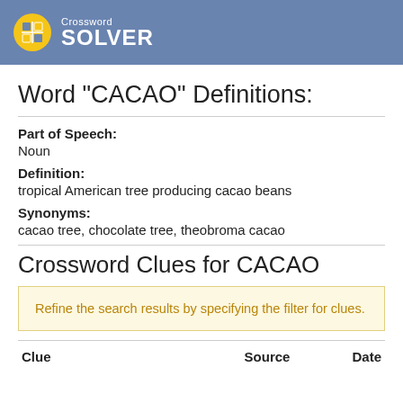Crossword SOLVER
Word "CACAO" Definitions:
Part of Speech: Noun
Definition: tropical American tree producing cacao beans
Synonyms: cacao tree, chocolate tree, theobroma cacao
Crossword Clues for CACAO
Refine the search results by specifying the filter for clues.
| Clue | Source | Date |
| --- | --- | --- |